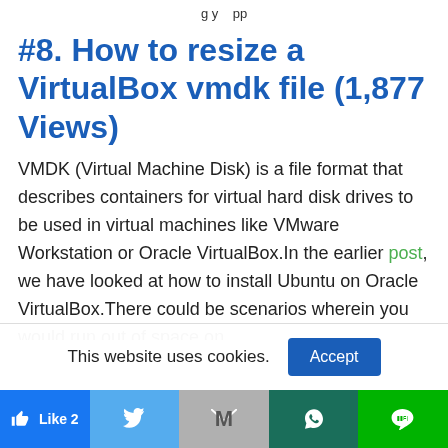g y pp
#8. How to resize a VirtualBox vmdk file (1,877 Views)
VMDK (Virtual Machine Disk) is a file format that describes containers for virtual hard disk drives to be used in virtual machines like VMware Workstation or Oracle VirtualBox.In the earlier post, we have looked at how to install Ubuntu on Oracle VirtualBox.There could be scenarios wherein you would run out of space on
This website uses cookies.
Accept
[Figure (infographic): Social sharing bar with Like 2, Twitter, Gmail (M), WhatsApp, and Line buttons]